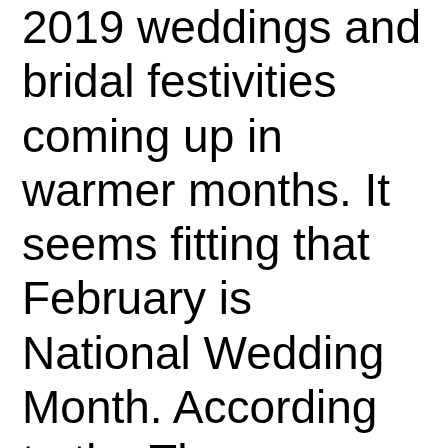2019 weddings and bridal festivities coming up in warmer months. It seems fitting that February is National Wedding Month. According to the The Association of Bridal Consultants, about 2.4 million couples get married in the United States each year.
We know there is one wedding among those millions that is the most important, yours